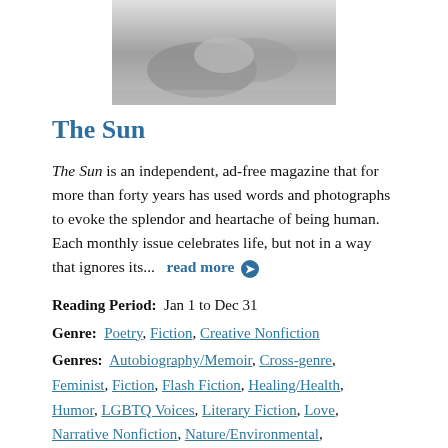[Figure (photo): Black and white photograph of hands holding something, cropped to show upper portion only]
The Sun
The Sun is an independent, ad-free magazine that for more than forty years has used words and photographs to evoke the splendor and heartache of being human. Each monthly issue celebrates life, but not in a way that ignores its...   read more →
Reading Period:  Jan 1 to Dec 31
Genre:  Poetry, Fiction, Creative Nonfiction
Genres:  Autobiography/Memoir, Cross-genre, Feminist, Fiction, Flash Fiction, Healing/Health, Humor, LGBTQ Voices, Literary Fiction, Love, Narrative Nonfiction, Nature/Environmental,